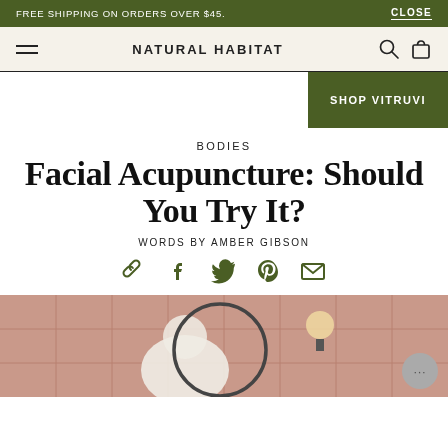FREE SHIPPING ON ORDERS OVER $45.    CLOSE
NATURAL HABITAT
SHOP VITRUVI
BODIES
Facial Acupuncture: Should You Try It?
WORDS BY AMBER GIBSON
[Figure (illustration): Social sharing icons: link, Facebook, Twitter, Pinterest, Email in dark green]
[Figure (photo): Person in white robe seen from behind in a bathroom mirror, pink tile walls, round wall-mounted mirror, warm globe light fixture]